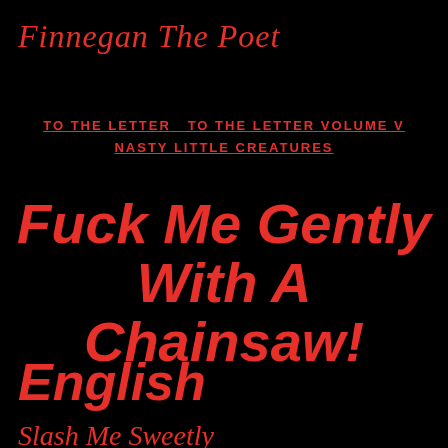Finnegan The Poet
TO THE LETTER   TO THE LETTER VOLUME V
NASTY LITTLE CREATURES
Fuck Me Gently With A Chainsaw!
English
Slash Me Sweetly